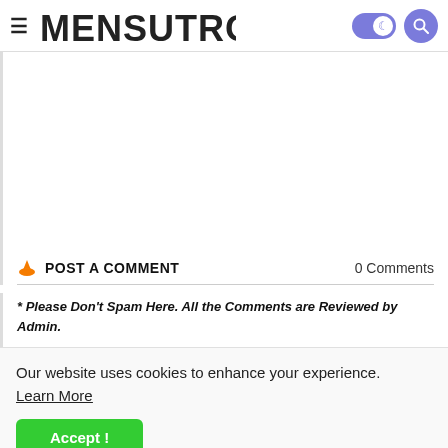≡ MENSUTROPRO [toggle] [search]
POST A COMMENT · 0 Comments
* Please Don't Spam Here. All the Comments are Reviewed by Admin.
Our website uses cookies to enhance your experience. Learn More
Accept !